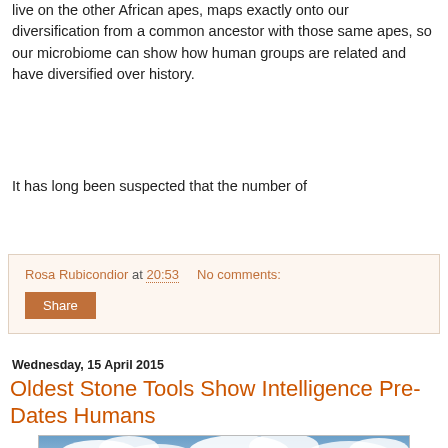live on the other African apes, maps exactly onto our diversification from a common ancestor with those same apes, so our microbiome can show how human groups are related and have diversified over history.
It has long been suspected that the number of
Rosa Rubicondior at 20:53   No comments:
Share
Wednesday, 15 April 2015
Oldest Stone Tools Show Intelligence Pre-Dates Humans
[Figure (photo): Landscape photo showing arid terrain with hills and a dramatic cloudy sky]